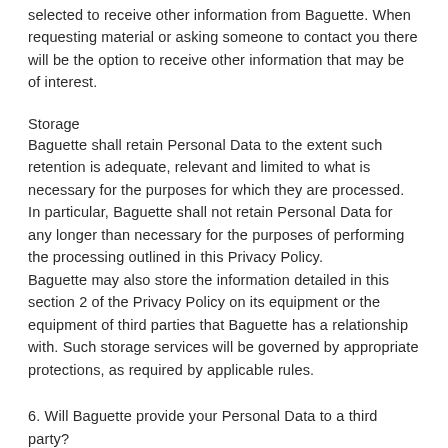selected to receive other information from Baguette. When requesting material or asking someone to contact you there will be the option to receive other information that may be of interest.
Storage
Baguette shall retain Personal Data to the extent such retention is adequate, relevant and limited to what is necessary for the purposes for which they are processed. In particular, Baguette shall not retain Personal Data for any longer than necessary for the purposes of performing the processing outlined in this Privacy Policy.
Baguette may also store the information detailed in this section 2 of the Privacy Policy on its equipment or the equipment of third parties that Baguette has a relationship with. Such storage services will be governed by appropriate protections, as required by applicable rules.
6. Will Baguette provide your Personal Data to a third party?